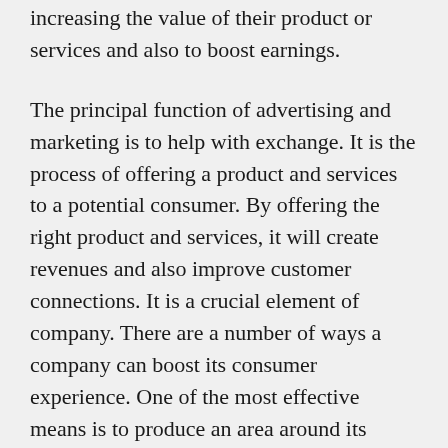increasing the value of their product or services and also to boost earnings.
The principal function of advertising and marketing is to help with exchange. It is the process of offering a product and services to a potential consumer. By offering the right product and services, it will create revenues and also improve customer connections. It is a crucial element of company. There are a number of ways a company can boost its consumer experience. One of the most effective means is to produce an area around its product. You can do this by creating a blog site or by getting in touch with other individuals in your target market.